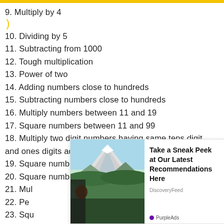9. Multiply by 4
10. Dividing by 5
11. Subtracting from 1000
12. Tough multiplication
13. Power of two
14. Adding numbers close to hundreds
15. Subtracting numbers close to hundreds
16. Multiply numbers between 11 and 19
17. Square numbers between 11 and 99
18. Multiply two digit numbers having same tens digit and ones digits add up to ten
19. Square numbers between 50 and 59
20. Square numbers between 40 and 49
21. Mul[advertisement covers rest]
22. Pe[advertisement covers rest]
23. Squ[advertisement covers rest]
[Figure (other): Advertisement overlay with mountain photo and text 'Take a Sneak Peek at Our Latest Recommendations Here' from DiscoveryFeed / PurpleAds]